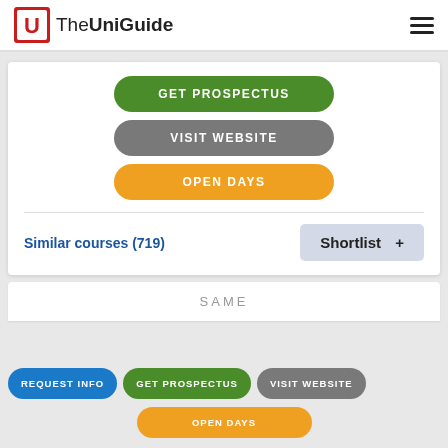TheUniGuide
GET PROSPECTUS
VISIT WEBSITE
OPEN DAYS
Similar courses (719)
Shortlist +
SAME
REQUEST INFO
GET PROSPECTUS
VISIT WEBSITE
OPEN DAYS